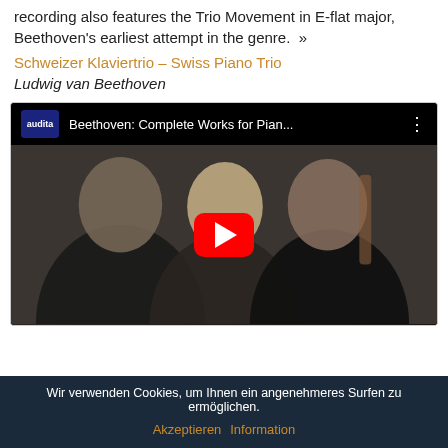recording also features the Trio Movement in E-flat major, Beethoven's earliest attempt in the genre.  »
Schweizer Klaviertrio – Swiss Piano Trio
Ludwig van Beethoven
[Figure (screenshot): YouTube video thumbnail showing three musicians (piano trio) posing together, with audita label logo and title 'Beethoven: Complete Works for Pian...' and a large red YouTube play button in the center]
Wir verwenden Cookies, um Ihnen ein angenehmeres Surfen zu ermöglichen.
Akzeptieren  Information